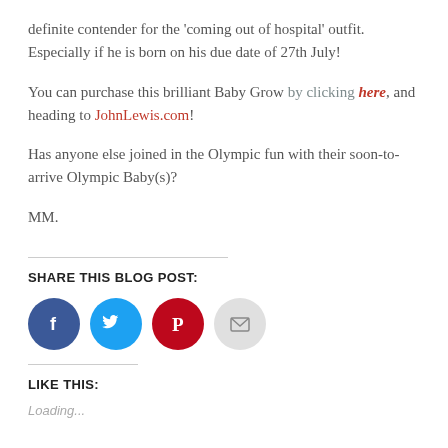definite contender for the 'coming out of hospital' outfit. Especially if he is born on his due date of 27th July!
You can purchase this brilliant Baby Grow by clicking here, and heading to JohnLewis.com!
Has anyone else joined in the Olympic fun with their soon-to-arrive Olympic Baby(s)?
MM.
SHARE THIS BLOG POST:
[Figure (other): Social media sharing icons: Facebook (blue), Twitter (light blue), Pinterest (red), Email (gray)]
LIKE THIS:
Loading...